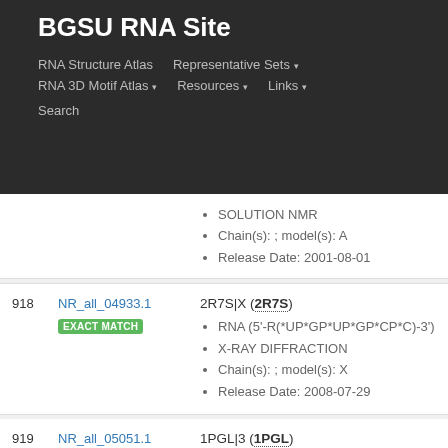BGSU RNA Site
RNA Structure Atlas | Representative Sets ▾ | RNA 3D Motif Atlas ▾ | Resources ▾ | Links ▾ | Search
| # | ID | Details |
| --- | --- | --- |
|  |  | SOLUTION NMR
Chain(s): ; model(s): A
Release Date: 2001-08-01 |
| 918 | NR_all_04933.1
EXACT MATCH | 2R7S|X (2R7S)
RNA (5'-R(*UP*GP*UP*GP*CP*C)-3')
X-RAY DIFFRACTION
Chain(s): ; model(s): X
Release Date: 2008-07-29 |
| 919 | NR_all_05051.1
EXACT MATCH | 1PGL|3 (1PGL)
5'-R(*AP*GP*UP*CP*UP*C)-3'
X-RAY DIFFRACTION
Chain(s): ; model(s): 3
Release Date: 2003-11-18 |